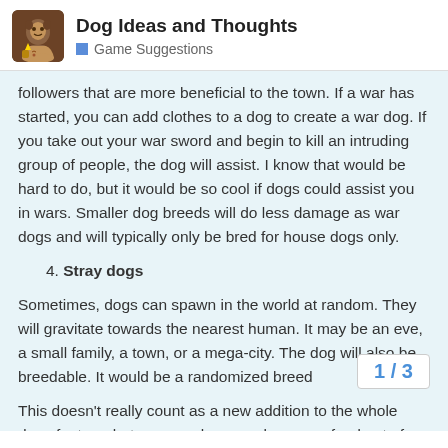Dog Ideas and Thoughts
Game Suggestions
followers that are more beneficial to the town. If a war has started, you can add clothes to a dog to create a war dog. If you take out your war sword and begin to kill an intruding group of people, the dog will assist. I know that would be hard to do, but it would be so cool if dogs could assist you in wars. Smaller dog breeds will do less damage as war dogs and will typically only be bred for house dogs only.
4. Stray dogs
Sometimes, dogs can spawn in the world at random. They will gravitate towards the nearest human. It may be an eve, a small family, a town, or a mega-city. The dog will also be breedable. It would be a randomized breed
This doesn't really count as a new addition to the whole dogs feature, but can we please make puppy food out of something other than pork. Maybe mutton would work? Or beef. Every time I spawn in, I have to create a whole pig far little puppy.